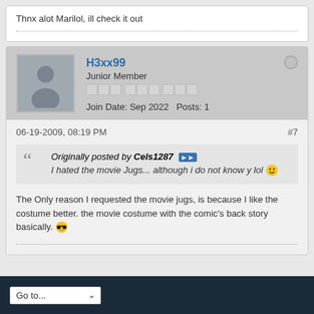Thnx alot Marilol, ill check it out
H3xx99
Junior Member
Join Date: Sep 2022  Posts: 1
06-19-2009, 08:19 PM  #7
Originally posted by Cels1287
I hated the movie Jugs... although i do not know y lol
The Only reason I requested the movie jugs, is because I like the costume better. the movie costume with the comic's back story basically.
Go to...